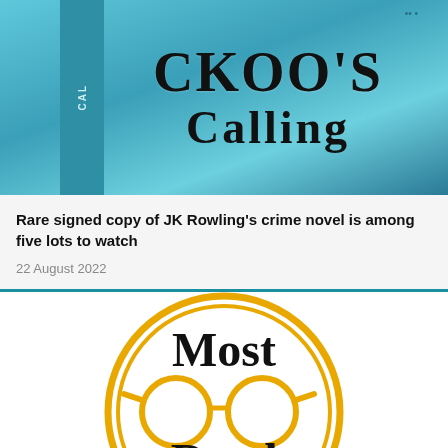[Figure (photo): Book cover of 'The Cuckoo's Calling' showing the title text in large serif font on a teal/blue background with partial spine visible on the left]
Rare signed copy of JK Rowling's crime novel is among five lots to watch
22 August 2022
[Figure (logo): Most Read badge: a circular gold/amber logo with two concentric rings, a glasses icon in the center, and text 'Most Read' in bold serif font]